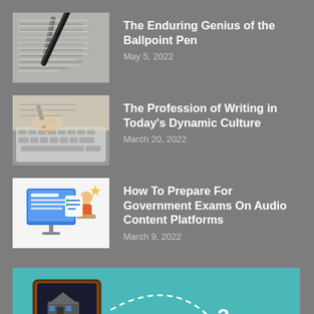[Figure (photo): Photo of a notebook with a ballpoint pen on it, viewed from above]
The Enduring Genius of the Ballpoint Pen
May 5, 2022
[Figure (photo): Person writing with a pen on paper near a laptop keyboard]
The Profession of Writing in Today's Dynamic Culture
March 20, 2022
[Figure (illustration): Illustration of a person studying on a computer with documents and icons]
How To Prepare For Government Exams On Audio Content Platforms
March 9, 2022
[Figure (illustration): Educational illustration with a chalkboard showing a school building, books, documents, pencil, and x+y math formula on a teal background]